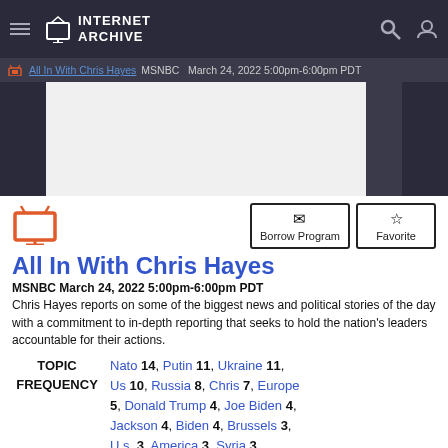Internet Archive
All In With Chris Hayes  MSNBC  March 24, 2022 5:00pm-6:00pm PDT
[Figure (screenshot): Video thumbnail area with dark side panels and a light center video frame]
Borrow Program  Favorite
All In With Chris Hayes
MSNBC March 24, 2022 5:00pm-6:00pm PDT
Chris Hayes reports on some of the biggest news and political stories of the day with a commitment to in-depth reporting that seeks to hold the nation's leaders accountable for their actions.
TOPIC FREQUENCY  Nato 14, Putin 11, Ukraine 11, Us 10, Russia 8, Chris 7, Europe 5, Donald Trump 4, Joe Biden 4, Jackson 4, Biden 4, Brussels 3, U.s. 3, America 3, Syria 3,